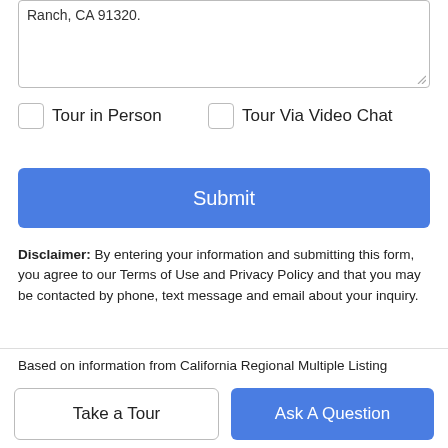[Figure (screenshot): Textarea input box with resize handle in bottom right corner, containing partial text 'Ranch, CA 91320']
Tour in Person
Tour Via Video Chat
Submit
Disclaimer: By entering your information and submitting this form, you agree to our Terms of Use and Privacy Policy and that you may be contacted by phone, text message and email about your inquiry.
Based on information from California Regional Multiple Listing Service, Inc. as of 2022-08-22T12:29:16.98. This information is for your personal, non-commercial use and may not be used for any purpose other than to identify prospective properties you may be
Take a Tour
Ask A Question